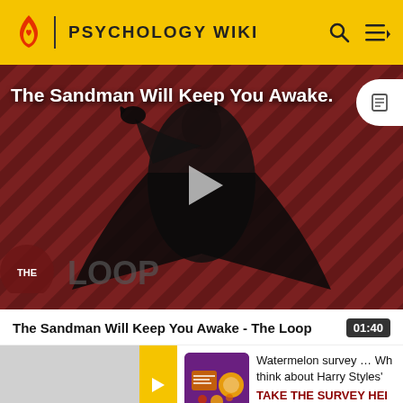PSYCHOLOGY WIKI
[Figure (screenshot): Video thumbnail: The Sandman Will Keep You Awake - The Loop. Dark figure in black cape with a raven, against a diagonal striped red and black background. Play button overlay. 'THE LOOP' text logo at bottom left.]
The Sandman Will Keep You Awake - The Loop   01:40
Watermelon survey … Wh think about Harry Styles'
TAKE THE SURVEY HEI
ADV...